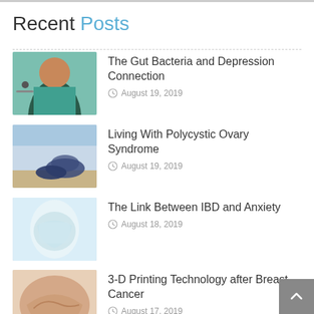Recent Posts
The Gut Bacteria and Depression Connection — August 19, 2019
Living With Polycystic Ovary Syndrome — August 19, 2019
The Link Between IBD and Anxiety — August 18, 2019
3-D Printing Technology after Breast Cancer — August 17, 2019